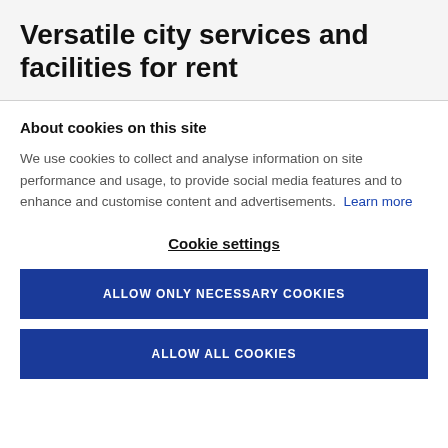Versatile city services and facilities for rent
About cookies on this site
We use cookies to collect and analyse information on site performance and usage, to provide social media features and to enhance and customise content and advertisements. Learn more
Cookie settings
ALLOW ONLY NECESSARY COOKIES
ALLOW ALL COOKIES